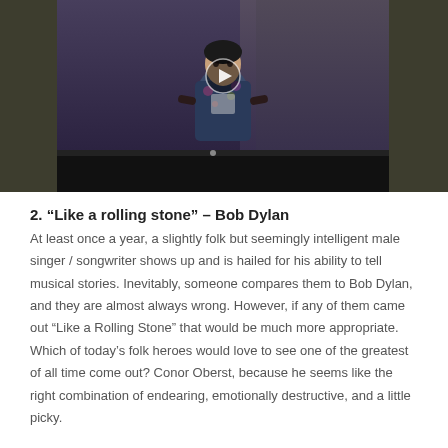[Figure (photo): A video player thumbnail showing a young male musician (Bob Dylan) sitting casually with a camera visible in the background, on a dark olive/brown background.]
2. “Like a rolling stone” – Bob Dylan
At least once a year, a slightly folk but seemingly intelligent male singer / songwriter shows up and is hailed for his ability to tell musical stories. Inevitably, someone compares them to Bob Dylan, and they are almost always wrong. However, if any of them came out “Like a Rolling Stone” that would be much more appropriate. Which of today’s folk heroes would love to see one of the greatest of all time come out? Conor Oberst, because he seems like the right combination of endearing, emotionally destructive, and a little picky.